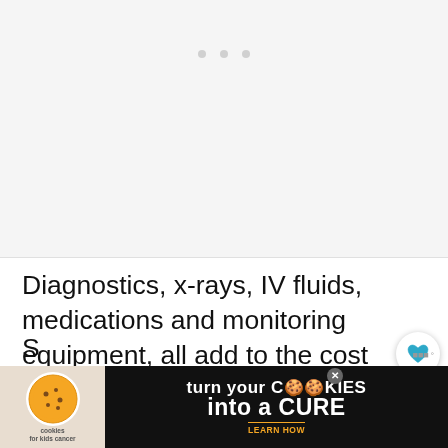[Figure (photo): Light gray placeholder image area with three small gray dots near top center, suggesting a loading or blank image slot]
Diagnostics, x-rays, IV fluids, medications and monitoring equipment, all add to the cost of caring for your pet while they are at an animal hospital.
S
[Figure (other): Advertisement banner: 'cookies for kids cancer — turn your COOKIES into a CURE LEARN HOW' with close button]